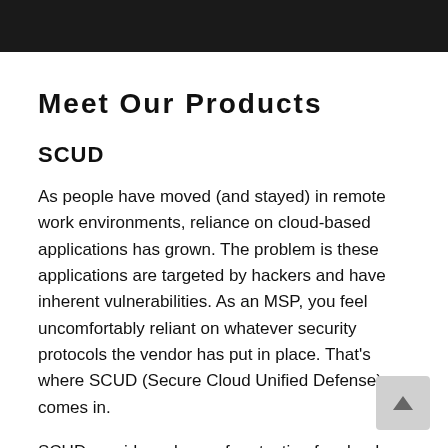Meet Our Products
SCUD
As people have moved (and stayed) in remote work environments, reliance on cloud-based applications has grown. The problem is these applications are targeted by hackers and have inherent vulnerabilities. As an MSP, you feel uncomfortably reliant on whatever security protocols the vendor has put in place. That’s where SCUD (Secure Cloud Unified Defense) comes in.
SCUD provides a layer of protection for cloud-based